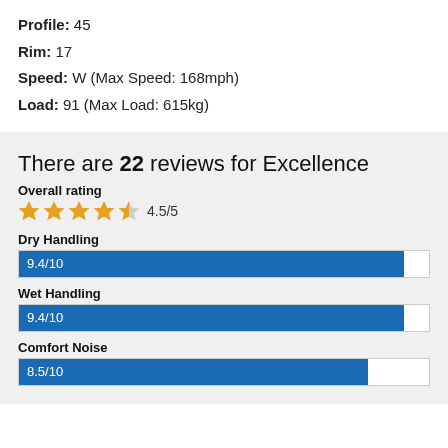Profile: 45
Rim: 17
Speed: W (Max Speed: 168mph)
Load: 91 (Max Load: 615kg)
There are 22 reviews for Excellence
Overall rating
4.5/5
Dry Handling
[Figure (bar-chart): Dry Handling]
Wet Handling
[Figure (bar-chart): Wet Handling]
Comfort Noise
[Figure (bar-chart): Comfort Noise]